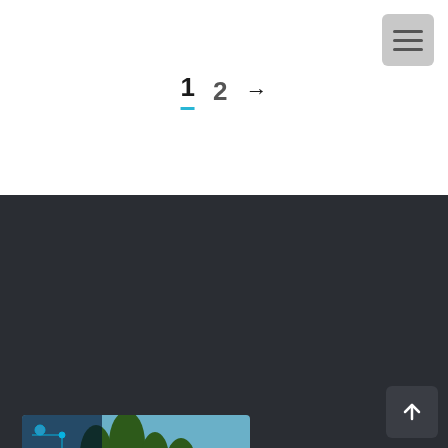[Figure (other): Hamburger menu button icon with three horizontal lines on grey rounded square background]
1  2  →
[Figure (photo): Course thumbnail for 'Introduction to Terrains for Games using Houdini and Unreal Engine' showing a green hillside landscape with trees and circuit board overlay on the left side.]
E-mail:
info@cgcircuit.com
[Figure (other): Scroll to top button with upward arrow on dark rounded square background]